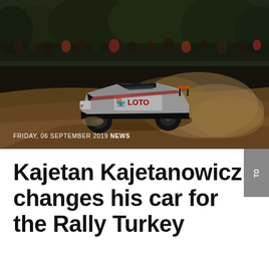[Figure (photo): Rally car with LOTO sponsorship livery kicking up dust on a dirt road, spectators and trees in background. Date overlay: FRIDAY, 06 SEPTEMBER 2019 NEWS.]
Kajetan Kajetanowicz changes his car for the Rally Turkey